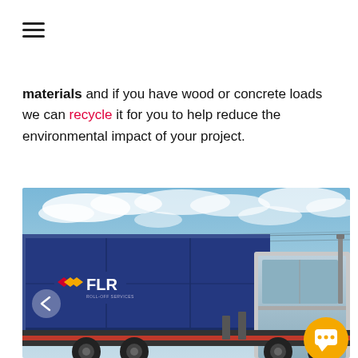[Figure (other): Hamburger menu icon with three horizontal lines]
materials and if you have wood or concrete loads we can recycle it for you to help reduce the environmental impact of your project.
[Figure (photo): Photo of a large blue FLR roll-off dumpster container being loaded onto a truck, photographed from below against a blue sky with white clouds. The FLR logo with colored chevrons is visible on the side of the container. A yellow chat button with a speech bubble icon is overlaid in the bottom-right corner.]